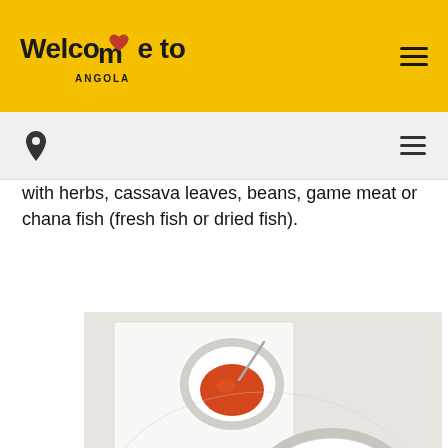Welcome to Angola
with herbs, cassava leaves, beans, game meat or chana fish (fresh fish or dried fish).
[Figure (photo): Overhead view of traditional Angolan food: bowls of orange/red sauce/soup, a bowl of white funje/porridge, and green vegetable leaves on a white table with a napkin]
English (UK)